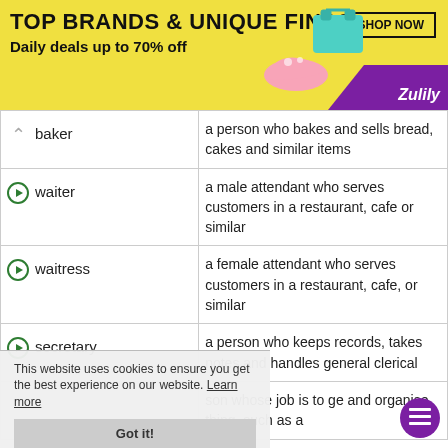[Figure (infographic): Zulily advertisement banner: yellow background with text 'TOP BRANDS & UNIQUE FINDS', 'Daily deals up to 70% off', a 'SHOP NOW' button, shoes and bag image, and purple Zulily logo bottom right.]
| Word | Definition |
| --- | --- |
| baker | a person who bakes and sells bread, cakes and similar items |
| waiter | a male attendant who serves customers in a restaurant, cafe or similar |
| waitress | a female attendant who serves customers in a restaurant, cafe, or similar |
| secretary | a person who keeps records, takes notes and handles general clerical... |
|  | ...son whose job is to ... ge and organise ... thing, such as a |
This website uses cookies to ensure you get the best experience on our website. Learn more
Got it!